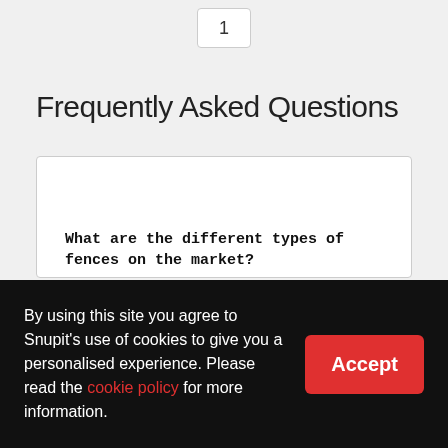1
Frequently Asked Questions
What are the different types of fences on the market?
There's a variety of fences on the market in Umlazi and some of them serve slightly different purposes.
By using this site you agree to Snupit's use of cookies to give you a personalised experience. Please read the cookie policy for more information.